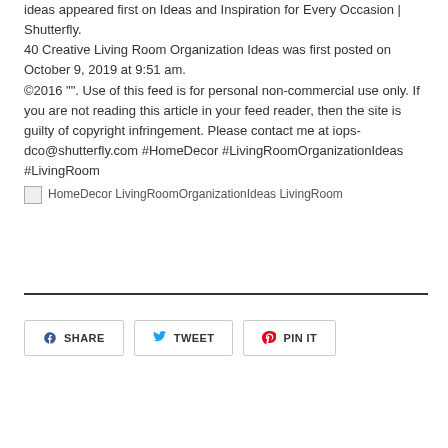ideas appeared first on Ideas and Inspiration for Every Occasion | Shutterfly.
40 Creative Living Room Organization Ideas was first posted on October 9, 2019 at 9:51 am.
©2016 "". Use of this feed is for personal non-commercial use only. If you are not reading this article in your feed reader, then the site is guilty of copyright infringement. Please contact me at iops-dco@shutterfly.com #HomeDecor #LivingRoomOrganizationIdeas #LivingRoom
[Figure (photo): Broken image placeholder with alt text: HomeDecor LivingRoomOrganizationIdeas LivingRoom]
SHARE  TWEET  PIN IT